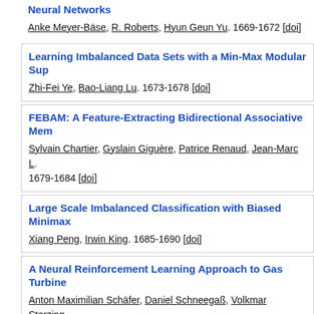Neural Networks
Anke Meyer-Bäse, R. Roberts, Hyun Geun Yu. 1669-1672 [doi]
Learning Imbalanced Data Sets with a Min-Max Modular Su...
Zhi-Fei Ye, Bao-Liang Lu. 1673-1678 [doi]
FEBAM: A Feature-Extracting Bidirectional Associative Mem...
Sylvain Chartier, Gyslain Giguère, Patrice Renaud, Jean-Marc L... 1679-1684 [doi]
Large Scale Imbalanced Classification with Biased Minimax...
Xiang Peng, Irwin King. 1685-1690 [doi]
A Neural Reinforcement Learning Approach to Gas Turbine...
Anton Maximilian Schäfer, Daniel Schneegaß, Volkmar Sterzing... 1696 [doi]
Parallel Growing SOM Monitored by Genetic Algorithm